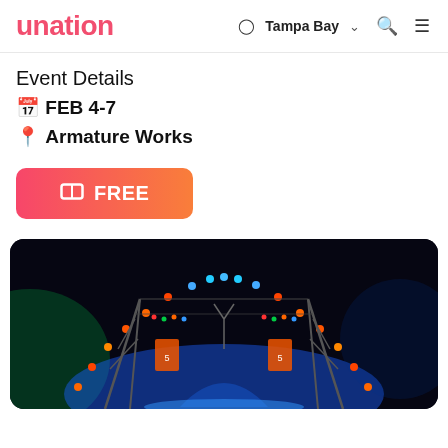unation | Tampa Bay
Event Details
🗓 FEB 4-7
📍 Armature Works
🎟 FREE
[Figure (photo): Night-time outdoor event venue with colorful LED arch lighting in blue, orange, and red over a dark industrial stage area. Bright blue spotlights illuminate the ground. Metal structures and hanging banners visible.]